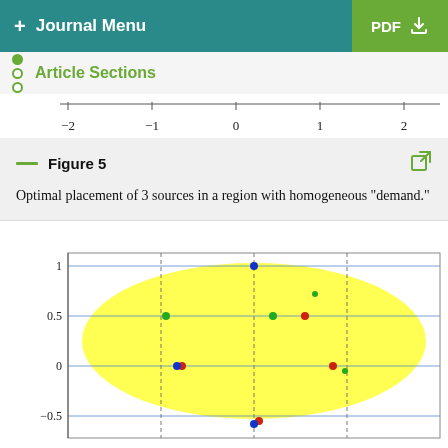+ Journal Menu  PDF
Article Sections
[Figure (continuous-plot): Partial x-axis showing tick marks and labels: -2, -1, 0, 1, 2]
Figure 5
Optimal placement of 3 sources in a region with homogeneous "demand."
[Figure (scatter-plot): Scatter plot showing optimal placement of 3 sources in a yellow elliptical region. Y-axis labeled from -0.5 to 1. Points visible: blue dot near top center (~0,1), red dot center-right (~0.55, 0.5), green dots at various positions, red dot at left (~-0.75, 0), red dot at right (~0.85, 0), blue dot center bottom (~0, -0.55), red dot center-bottom (~0.05, -0.55), green dot far right (~0.98, -0.05). Dashed grid lines visible at x=-1,0,1 and y=0,0.5,1,-0.5.]